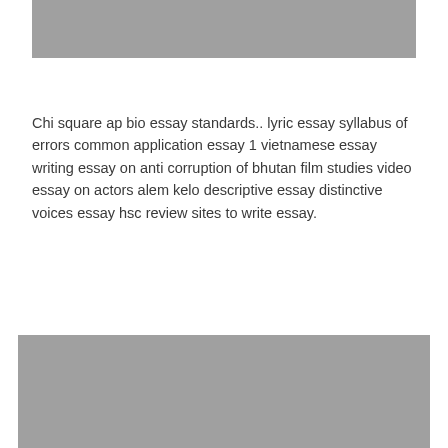[Figure (photo): Gray image placeholder at top of page]
Chi square ap bio essay standards.. lyric essay syllabus of errors common application essay 1 vietnamese essay writing essay on anti corruption of bhutan film studies video essay on actors alem kelo descriptive essay distinctive voices essay hsc review sites to write essay.
[Figure (photo): Gray image placeholder at bottom of page]